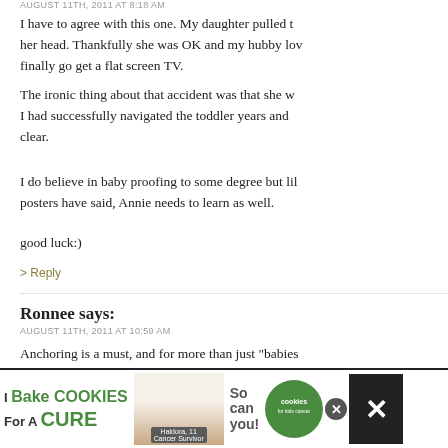AUGUST 11TH, 2011 AT 8:18 AM
I have to agree with this one. My daughter pulled the TV on her head. Thankfully she was OK and my hubby loved that we could finally go get a flat screen TV.
The ironic thing about that accident was that she was 4. I thought I had successfully navigated the toddler years and thought we were in the clear.
I do believe in baby proofing to some degree but like other posters have said, Annie needs to learn as well.
good luck:)
> Reply
Ronnee says:
AUGUST 11TH, 2011 AT 10:59 AM
Anchoring is a must, and for more than just "babies". My dd stood on her armoire/toy cupboard when she was over on her and broke her collar bone...and she wa something you think they will do at that age, but th
[Figure (screenshot): Advertisement banner: 'I Bake COOKIES For A CURE' with image of girl and cookies logo, close buttons on right]